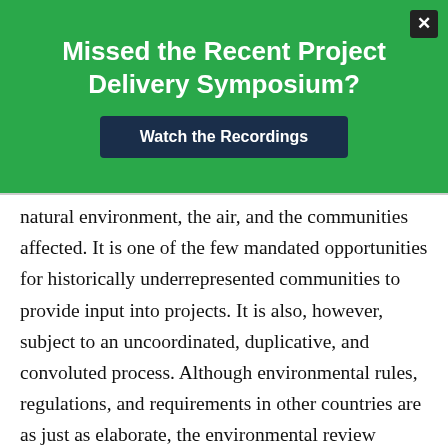Missed the Recent Project Delivery Symposium?
Watch the Recordings
natural environment, the air, and the communities affected. It is one of the few mandated opportunities for historically underrepresented communities to provide input into projects. It is also, however, subject to an uncoordinated, duplicative, and convoluted process. Although environmental rules, regulations, and requirements in other countries are as just as elaborate, the environmental review processes are generally better streamlined, and approval is obtained faster than in the United States. Many of the challenges with NEPA are attributed to misunderstandings and conflicts between agencies. Early and consistent coordination between agencies during planning and environmental assessment would